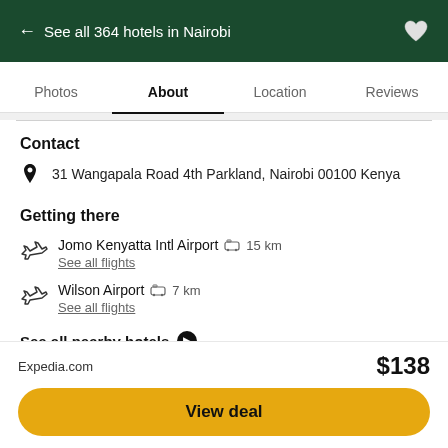← See all 364 hotels in Nairobi
About
Contact
31 Wangapala Road 4th Parkland, Nairobi 00100 Kenya
Getting there
Jomo Kenyatta Intl Airport  🚖 15 km
See all flights
Wilson Airport  🚖 7 km
See all flights
See all nearby hotels ➤
Expedia.com
$138
View deal